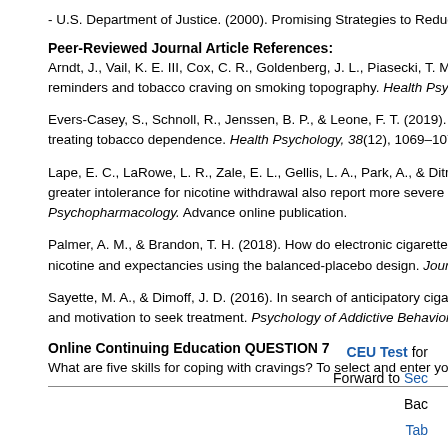- U.S. Department of Justice. (2000). Promising Strategies to Reduce Substance
Peer-Reviewed Journal Article References:
Arndt, J., Vail, K. E. III, Cox, C. R., Goldenberg, J. L., Piasecki, T. M., & Gib reminders and tobacco craving on smoking topography. Health Psychology
Evers-Casey, S., Schnoll, R., Jenssen, B. P., & Leone, F. T. (2019). Implicit treating tobacco dependence. Health Psychology, 38(12), 1069–1074.
Lape, E. C., LaRowe, L. R., Zale, E. L., Gellis, L. A., Park, A., & Ditre, J. W greater intolerance for nicotine withdrawal also report more severe insomn Psychopharmacology. Advance online publication.
Palmer, A. M., & Brandon, T. H. (2018). How do electronic cigarettes affect nicotine and expectancies using the balanced-placebo design. Journal of C
Sayette, M. A., & Dimoff, J. D. (2016). In search of anticipatory cigarette cra and motivation to seek treatment. Psychology of Addictive Behaviors, 30(3
Online Continuing Education QUESTION 7
What are five skills for coping with cravings? To select and enter your answ
CEU Test for
Forward to Sec
Bac
Tab